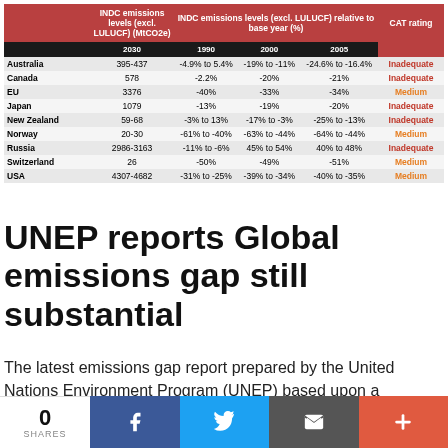|  | INDC emissions levels (excl. LULUCF) (MtCO2e) 2030 | INDC emissions levels (excl. LULUCF) relative to base year (%) 1990 | INDC emissions levels (excl. LULUCF) relative to base year (%) 2000 | INDC emissions levels (excl. LULUCF) relative to base year (%) 2005 | CAT rating |
| --- | --- | --- | --- | --- | --- |
| Australia | 395-437 | -4.9% to 5.4% | -19% to -11% | -24.6% to -16.4% | Inadequate |
| Canada | 578 | -2.2% | -20% | -21% | Inadequate |
| EU | 3376 | -40% | -33% | -34% | Medium |
| Japan | 1079 | -13% | -19% | -20% | Inadequate |
| New Zealand | 59-68 | -3% to 13% | -17% to -3% | -25% to -13% | Inadequate |
| Norway | 20-30 | -61% to -40% | -63% to -44% | -64% to -44% | Medium |
| Russia | 2986-3163 | -11% to -6% | 45% to 54% | 40% to 48% | Inadequate |
| Switzerland | 26 | -50% | -49% | -51% | Medium |
| USA | 4307-4682 | -31% to -25% | -39% to -34% | -40% to -35% | Medium |
UNEP reports Global emissions gap still substantial
The latest emissions gap report prepared by the United Nations Environment Program (UNEP) based upon a preliminary assessment of INDCs for 38 of the 59 submissions accounting for over 60 percent of global emissions.